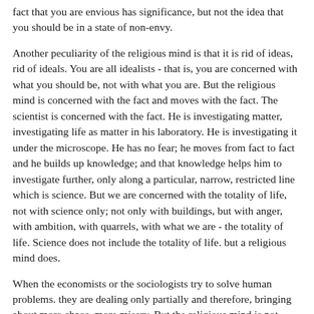fact that you are envious has significance, but not the idea that you should be in a state of non-envy.
Another peculiarity of the religious mind is that it is rid of ideas, rid of ideals. You are all idealists - that is, you are concerned with what you should be, not with what you are. But the religious mind is concerned with the fact and moves with the fact. The scientist is concerned with the fact. He is investigating matter, investigating life as matter in his laboratory. He is investigating it under the microscope. He has no fear; he moves from fact to fact and he builds up knowledge; and that knowledge helps him to investigate further, only along a particular, narrow, restricted line which is science. But we are concerned with the totality of life, not with science only; not only with buildings, but with anger, with ambition, with quarrels, with what we are - the totality of life. Science does not include the totality of life. but a religious mind does.
When the economists or the sociologists try to solve human problems. they are dealing only partially and therefore, bringing about more chaos, more misery. But the religious mind is not concerned with the partial. It is concerned with the total development of man; it is concerned with the total entity of man - that is, the outward movement of life is the same as the inward movement. The outward movement is like the ebb, the tide that goes out; and the inward movement is like the flow, the same tide that